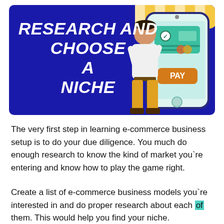[Figure (infographic): Blue banner with bold white italic text 'RESEARCH AND CHOOSE A NICHE' on the left, an illustrated man in yellow pants standing in front of a large smartphone displaying a payment screen with a PAY button, and a striped awning at the top right of the phone.]
The very first step in learning e-commerce business setup is to do your due diligence. You much do enough research to know the kind of market you`re entering and know how to play the game right.
Create a list of e-commerce business models you`re interested in and do proper research about each of them. This would help you find your niche.